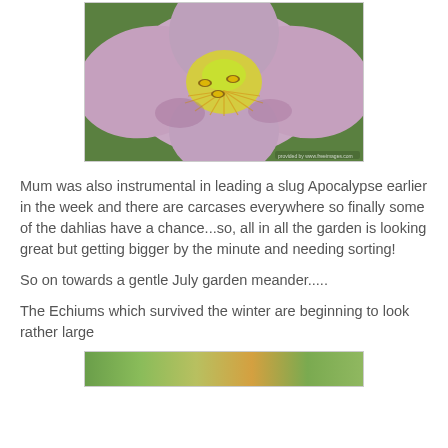[Figure (photo): Close-up photo of a large pink/purple poppy flower with bees on its yellow center, surrounded by green foliage.]
Mum was also instrumental in leading a slug Apocalypse earlier in the week and there are carcases everywhere so finally some of the dahlias have a chance...so, all in all the garden is looking great but getting bigger by the minute and needing sorting!
So on towards a gentle July garden meander.....
The Echiums which survived the winter are beginning to look rather large
[Figure (photo): Partial view of a garden photo showing green plants, cut off at the bottom of the page.]